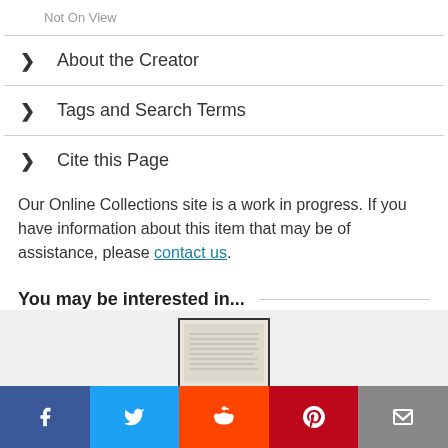Not On View
> About the Creator
> Tags and Search Terms
> Cite this Page
Our Online Collections site is a work in progress. If you have information about this item that may be of assistance, please contact us.
You may be interested in...
[Figure (photo): Thumbnail image of a handwritten document]
[Figure (infographic): Social sharing bar with Facebook, Twitter, Reddit, Pinterest, and Email buttons]